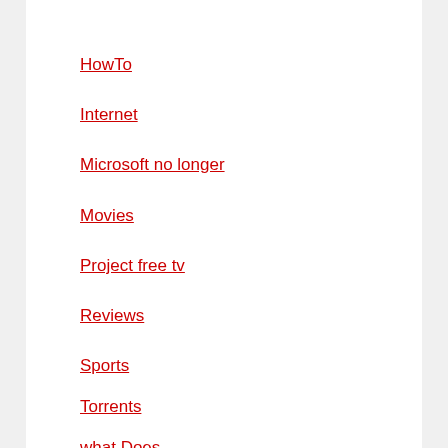HowTo
Internet
Microsoft no longer
Movies
Project free tv
Reviews
Sports
Torrents
what Does